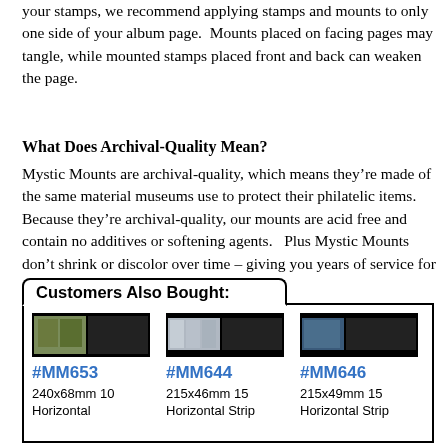your stamps, we recommend applying stamps and mounts to only one side of your album page.  Mounts placed on facing pages may tangle, while mounted stamps placed front and back can weaken the page.
What Does Archival-Quality Mean?
Mystic Mounts are archival-quality, which means they’re made of the same material museums use to protect their philatelic items.  Because they’re archival-quality, our mounts are acid free and contain no additives or softening agents.   Plus Mystic Mounts don’t shrink or discolor over time – giving you years of service for pennies apiece!
Customers Also Bought:
[Figure (photo): Small photo of stamps for product #MM653]
#MM653
240x68mm 10 Horizontal
[Figure (photo): Small photo of stamps for product #MM644]
#MM644
215x46mm 15 Horizontal Strip
[Figure (photo): Small photo of stamps for product #MM646]
#MM646
215x49mm 15 Horizontal Strip